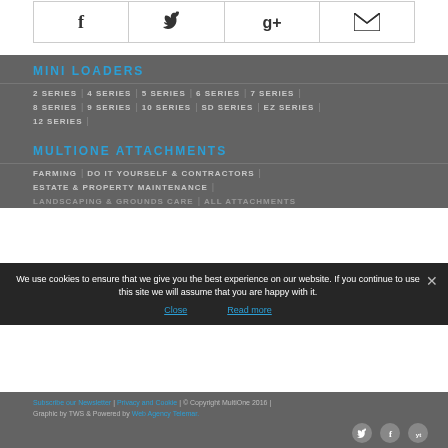[Figure (other): Social media icon bar with Facebook, Twitter, Google+, and email icons in a grid row]
MINI LOADERS
2 SERIES | 4 SERIES | 5 SERIES | 6 SERIES | 7 SERIES
8 SERIES | 9 SERIES | 10 SERIES | SD SERIES | EZ SERIES
12 SERIES
MULTIONE ATTACHMENTS
FARMING | DO IT YOURSELF & CONTRACTORS
ESTATE & PROPERTY MAINTENANCE
LANDSCAPING & GROUNDS CARE | ALL ATTACHMENTS
We use cookies to ensure that we give you the best experience on our website. If you continue to use this site we will assume that you are happy with it.
Close    Read more
Subscribe our Newsletter | Privacy and Cookie | © Copyright MultiOne 2016 | Graphic by TWS & Powered by Web Agency Telemar.